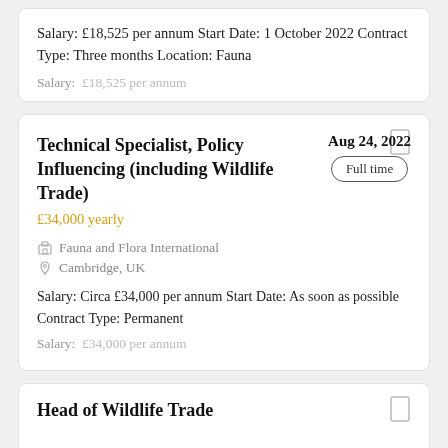Salary: £18,525 per annum Start Date: 1 October 2022 Contract Type: Three months Location: Fauna
Salary:  £18,525 per annum
Technical Specialist, Policy Influencing (including Wildlife Trade)
£34,000 yearly
Aug 24, 2022
Full time
Fauna and Flora International
Cambridge, UK
Salary: Circa £34,000 per annum Start Date: As soon as possible Contract Type: Permanent
Salary:  £34,000 per annum
Head of Wildlife Trade